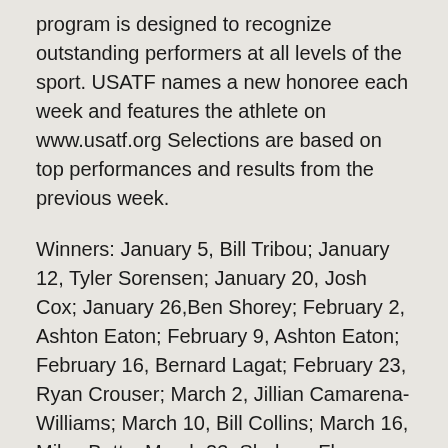program is designed to recognize outstanding performers at all levels of the sport. USATF names a new honoree each week and features the athlete on www.usatf.org Selections are based on top performances and results from the previous week.
Winners: January 5, Bill Tribou; January 12, Tyler Sorensen; January 20, Josh Cox; January 26, Ben Shorey; February 2, Ashton Eaton; February 9, Ashton Eaton; February 16, Bernard Lagat; February 23, Ryan Crouser; March 2, Jillian Camarena-Williams; March 10, Bill Collins; March 16, Miles Batty; March 23, Shalane Flanagan; March 30, John Nunn; April 6, Aries Merritt; April 13, Gunnar Nixon; April 20, Desiree Davila; April 27, Nolan Shaheed; May 4, Emma Coburn; May 11, Willie Gault; May 18, English Gardner; May 25, Kibwé Johnson; June 1, Khadevis Robinson; June 8, Carmelita Jeter; June 15, Lukas Verzbicas; June 22, Aisling Cuffe;